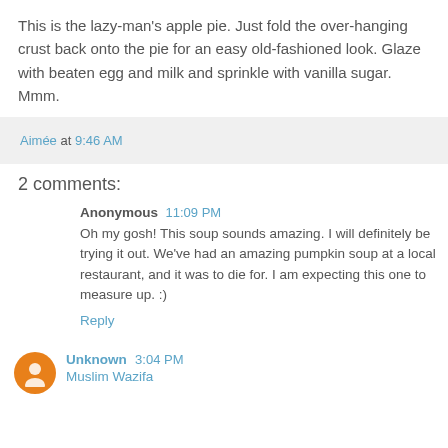This is the lazy-man's apple pie. Just fold the over-hanging crust back onto the pie for an easy old-fashioned look. Glaze with beaten egg and milk and sprinkle with vanilla sugar. Mmm.
Aimée at 9:46 AM
2 comments:
Anonymous 11:09 PM
Oh my gosh! This soup sounds amazing. I will definitely be trying it out. We've had an amazing pumpkin soup at a local restaurant, and it was to die for. I am expecting this one to measure up. :)
Reply
Unknown 3:04 PM
Muslim Wazifa